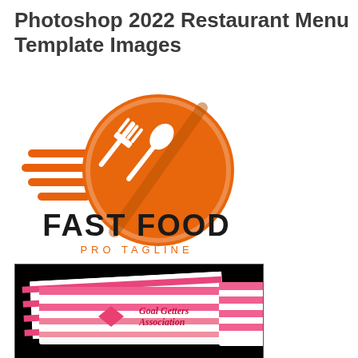Photoshop 2022 Restaurant Menu Template Images
[Figure (logo): Fast Food logo: orange circle with fork and spoon icon, speed lines on left, bold text 'FAST FOOD' below, orange tagline 'PRO TAGLINE']
[Figure (photo): Photo of overlapping business cards/envelopes on black background, pink and white diagonal stripes, pink diamond envelope icon, text 'Goal Getters Association' in script]